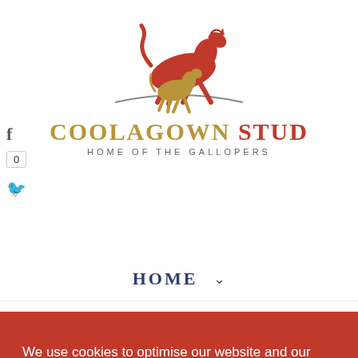[Figure (logo): Coolagown Stud logo: red horse with golden foal running, with arc beneath and text 'COOLAGOWN STUD HOME OF THE GALLOPERS']
f  0
🐦
HOME ∨
We use cookies to optimise our website and our service.  Read more
Functional only
All cookies